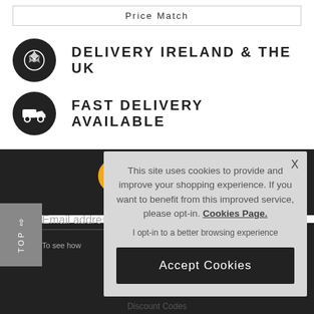Price Match
DELIVERY IRELAND & THE UK
FAST DELIVERY AVAILABLE
Email address
To see how
This site uses cookies to provide and improve your shopping experience. If you want to benefit from this improved service, please opt-in. Cookies Page.
I opt-in to a better browsing experience
Accept Cookies
Discount Codes